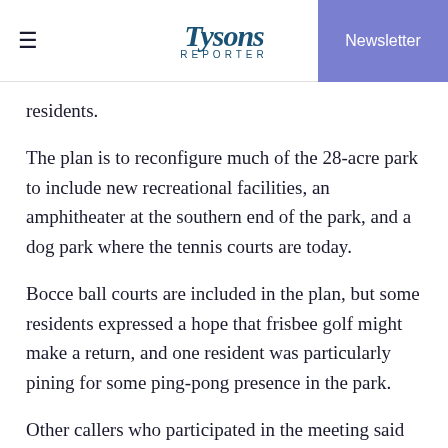Tysons Reporter | Newsletter
residents.
The plan is to reconfigure much of the 28-acre park to include new recreational facilities, an amphitheater at the southern end of the park, and a dog park where the tennis courts are today.
Bocce ball courts are included in the plan, but some residents expressed a hope that frisbee golf might make a return, and one resident was particularly pining for some ping-pong presence in the park.
Other callers who participated in the meeting said they were concerned the overhaul of the park would attract more cars to central McLean, potentially making local streets more hazardous.